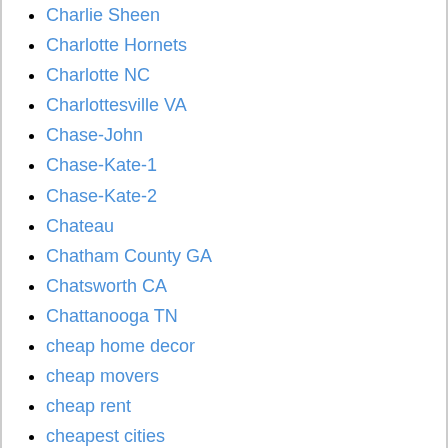Charlie Sheen
Charlotte Hornets
Charlotte NC
Charlottesville VA
Chase-John
Chase-Kate-1
Chase-Kate-2
Chateau
Chatham County GA
Chatsworth CA
Chattanooga TN
cheap home decor
cheap movers
cheap rent
cheapest cities
Chebeague Island ME
Cheboygan MI
checklist
chef